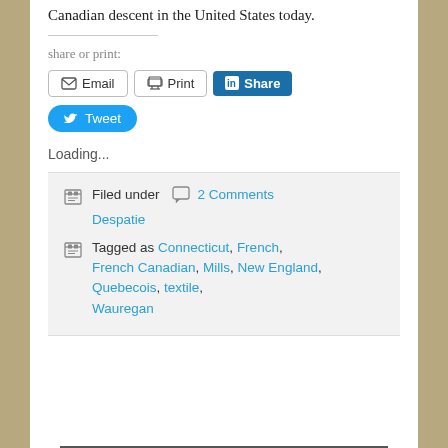Canadian descent in the United States today.
share or print:
Email  Print  Share  Tweet
Loading...
Filed under  2 Comments  Despatie
Tagged as Connecticut, French, French Canadian, Mills, New England, Quebecois, textile, Wauregan